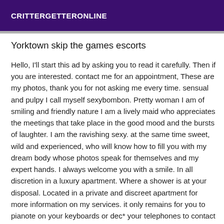CRITTERGETTERONLINE
Yorktown skip the games escorts
Hello, I'll start this ad by asking you to read it carefully. Then if you are interested. contact me for an appointment, These are my photos, thank you for not asking me every time. sensual and pulpy I call myself sexybombon. Pretty woman I am of smiling and friendly nature I am a lively maid who appreciates the meetings that take place in the good mood and the bursts of laughter. I am the ravishing sexy. at the same time sweet, wild and experienced, who will know how to fill you with my dream body whose photos speak for themselves and my expert hands. I always welcome you with a smile. In all discretion in a luxury apartment. Where a shower is at your disposal. Located in a private and discreet apartment for more information on my services. it only remains for you to pianote on your keyboards or dec* your telephones to contact me by